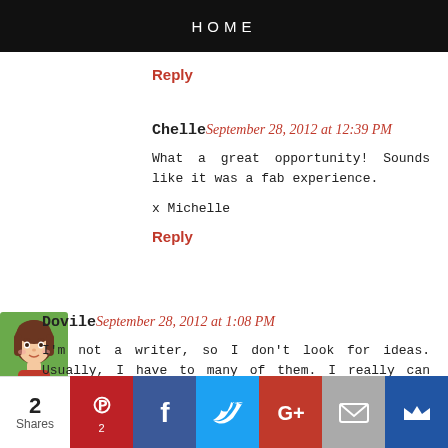HOME
Reply
Chelle September 28, 2012 at 12:39 PM
What a great opportunity! Sounds like it was a fab experience.

x Michelle
Reply
[Figure (illustration): Avatar image of commenter Dovile — cartoon-style illustration of a girl with brown hair]
Dovile September 28, 2012 at 1:08 PM
I'm not a writer, so I don't look for ideas. Usually, I have to many of them. I really can imagine writing in France, it should be perfect.

spamscape [at] gmail [dot] com
Reply